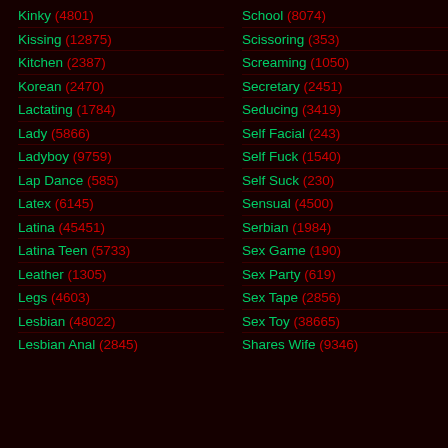Kinky (4801)
Kissing (12875)
Kitchen (2387)
Korean (2470)
Lactating (1784)
Lady (5866)
Ladyboy (9759)
Lap Dance (585)
Latex (6145)
Latina (45451)
Latina Teen (5733)
Leather (1305)
Legs (4603)
Lesbian (48022)
Lesbian Anal (2845)
School (8074)
Scissoring (353)
Screaming (1050)
Secretary (2451)
Seducing (3419)
Self Facial (243)
Self Fuck (1540)
Self Suck (230)
Sensual (4500)
Serbian (1984)
Sex Game (190)
Sex Party (619)
Sex Tape (2856)
Sex Toy (38665)
Shares Wife (9346)